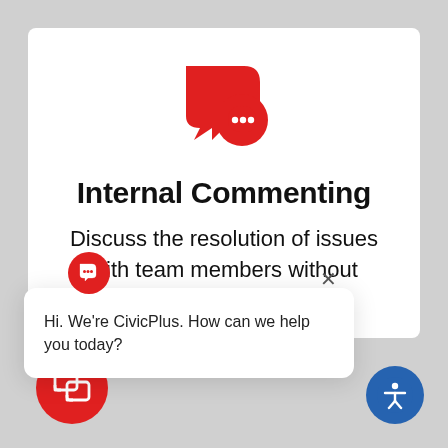[Figure (illustration): Red speech bubble chat icon with two overlapping chat bubbles and three dots inside smaller bubble]
Internal Commenting
Discuss the resolution of issues with team members without visibility.
[Figure (screenshot): CivicPlus chat popup widget showing message: Hi. We're CivicPlus. How can we help you today? with close button and chat trigger icon]
[Figure (illustration): Red circular chat button at bottom left]
[Figure (illustration): Blue circular accessibility icon at bottom right]